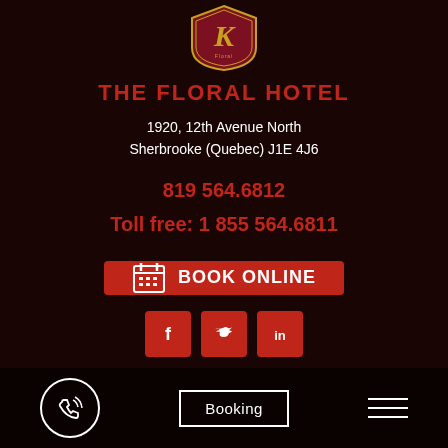[Figure (logo): The Floral Hotel shield logo with ornate K letter in dark red and gold]
THE FLORAL HOTEL
1920, 12th Avenue North
Sherbrooke (Quebec) J1E 4J6
819 564.6812
Toll free: 1 855 564.6811
[Figure (other): BOOK ONLINE button with calendar icon in red]
[Figure (other): Social media icons: Facebook, Twitter, LinkedIn]
© 1998 - 2022 The Floral Hotel | Design and conception:
[Figure (logo): Basto design agency logo in italic script]
[Figure (other): Bottom navigation bar with phone icon, Booking button, and hamburger menu]